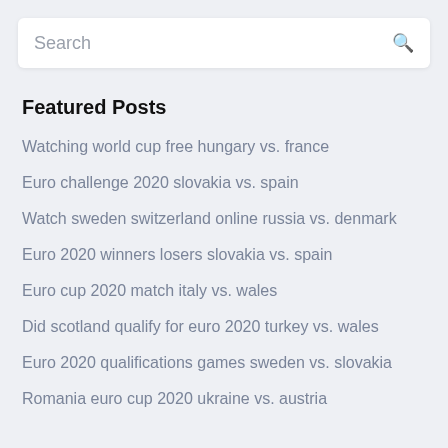[Figure (screenshot): Search input bar with magnifying glass icon]
Featured Posts
Watching world cup free hungary vs. france
Euro challenge 2020 slovakia vs. spain
Watch sweden switzerland online russia vs. denmark
Euro 2020 winners losers slovakia vs. spain
Euro cup 2020 match italy vs. wales
Did scotland qualify for euro 2020 turkey vs. wales
Euro 2020 qualifications games sweden vs. slovakia
Romania euro cup 2020 ukraine vs. austria